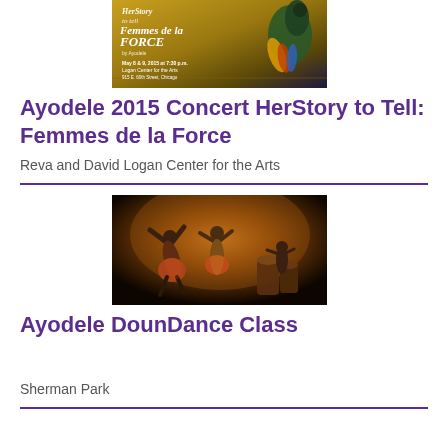[Figure (photo): Concert poster for Ayodele 2015 Concert HerStory to Tell: Femmes de la Force, May 8 & 9, 2015 at 7:30 p.m., Logan Center for the Arts, colorful African-themed design with a bird]
Ayodele 2015 Concert HerStory to Tell: Femmes de la Force
Reva and David Logan Center for the Arts
[Figure (photo): Performance photo showing African dancers and drummers on stage with warm amber lighting]
Ayodele DounDance Class
Sherman Park